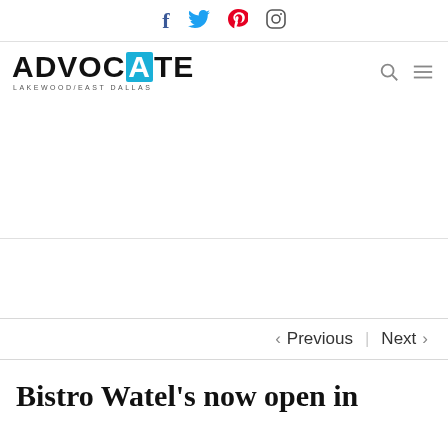Social icons: Facebook, Twitter, Pinterest, Instagram
[Figure (logo): Advocate Lakewood/East Dallas logo with blue highlighted A in ADVOCATE and subtitle LAKEWOOD/EAST DALLAS]
[Figure (other): Search and menu (hamburger) navigation icons]
< Previous   Next >
Bistro Watel's now open in